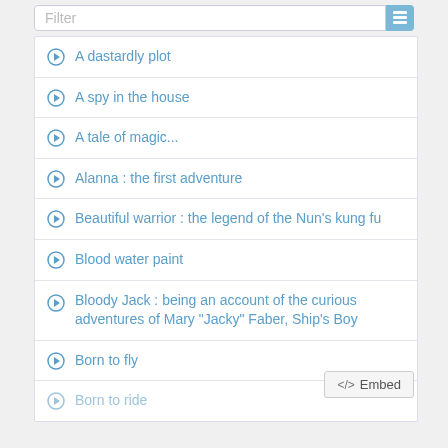Filter
A dastardly plot
A spy in the house
A tale of magic...
Alanna : the first adventure
Beautiful warrior : the legend of the Nun's kung fu
Blood water paint
Bloody Jack : being an account of the curious adventures of Mary "Jacky" Faber, Ship's Boy
Born to fly
Born to ride
</> Embed